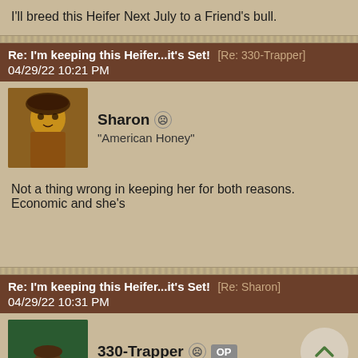I'll breed this Heifer Next July to a Friend's bull.
Re: I'm keeping this Heifer...it's Set! [Re: 330-Trapper] 04/29/22 10:21 PM
Sharon “American Honey”
Not a thing wrong in keeping her for both reasons. Economic and she's
Re: I'm keeping this Heifer...it's Set! [Re: Sharon] 04/29/22 10:31 PM
330-Trapper OP trapper